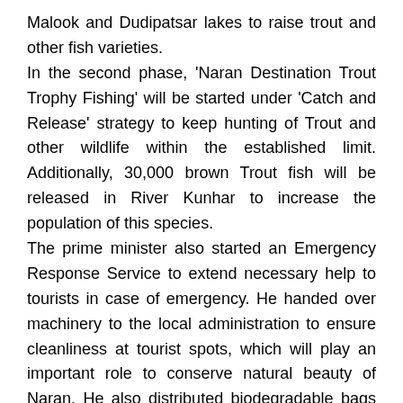Malook and Dudipatsar lakes to raise trout and other fish varieties.
In the second phase, 'Naran Destination Trout Trophy Fishing' will be started under 'Catch and Release' strategy to keep hunting of Trout and other wildlife within the established limit. Additionally, 30,000 brown Trout fish will be released in River Kunhar to increase the population of this species.
The prime minister also started an Emergency Response Service to extend necessary help to tourists in case of emergency. He handed over machinery to the local administration to ensure cleanliness at tourist spots, which will play an important role to conserve natural beauty of Naran. He also distributed biodegradable bags among local people to discourage use of plastic bags at tourist spots.
Separately, members of the National Assembly including Rahat Amanullah Bhatti, Malik Karamat Ali, and Sardar Talib Hussain Nakai called on Prime Minister Imran Khan in